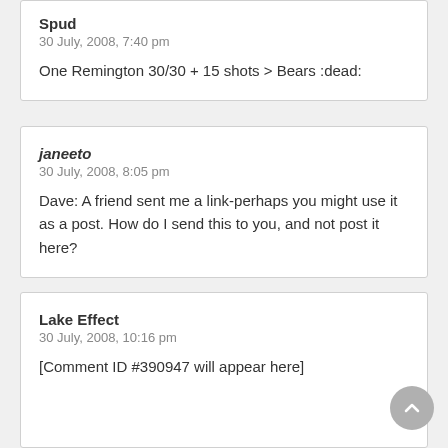Spud
30 July, 2008, 7:40 pm
One Remington 30/30 + 15 shots > Bears :dead:
janeeto
30 July, 2008, 8:05 pm
Dave: A friend sent me a link-perhaps you might use it as a post. How do I send this to you, and not post it here?
Lake Effect
30 July, 2008, 10:16 pm
[Comment ID #390947 will appear here]